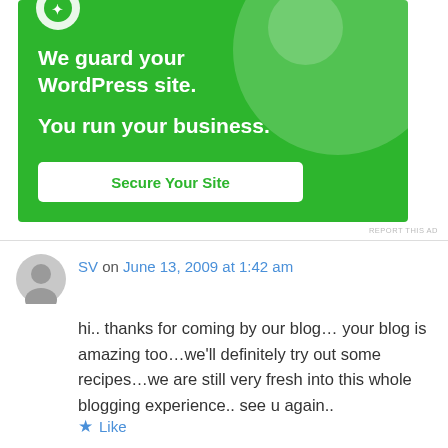[Figure (illustration): Green advertisement banner for a WordPress security service. Text reads 'We guard your WordPress site. You run your business.' with a 'Secure Your Site' button.]
REPORT THIS AD
SV on June 13, 2009 at 1:42 am
hi.. thanks for coming by our blog… your blog is amazing too…we'll definitely try out some recipes…we are still very fresh into this whole blogging experience.. see u again..
Like